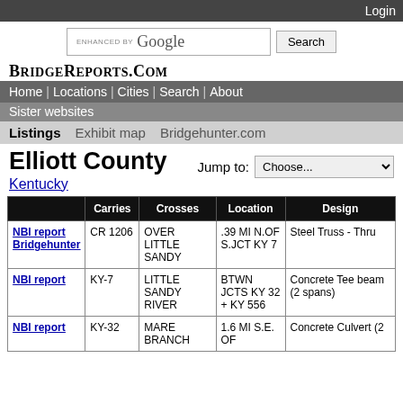Login
ENHANCED BY Google Search
BridgeReports.com
Home | Locations | Cities | Search | About
Sister websites
Listings   Exhibit map   Bridgehunter.com
Elliott County Kentucky
Jump to: Choose...
|  | Carries | Crosses | Location | Design |
| --- | --- | --- | --- | --- |
| NBI report Bridgehunter | CR 1206 | OVER LITTLE SANDY | .39 MI N.OF S.JCT KY 7 | Steel Truss - Thru |
| NBI report | KY-7 | LITTLE SANDY RIVER | BTWN JCTS KY 32 + KY 556 | Concrete Tee beam (2 spans) |
| NBI report | KY-32 | MARE BRANCH | 1.6 MI S.E. OF | Concrete Culvert (2 |